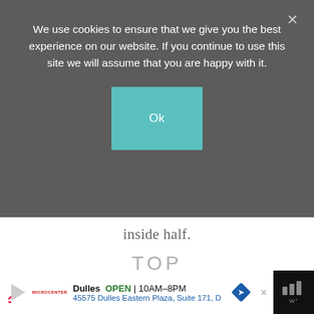We use cookies to ensure that we give you the best experience on our website. If you continue to use this site we will assume that you are happy with it.
Ok
inside half.
TOP
Top each side with ham, salami, pepperoni, and mozzarella cheese slices.
[Figure (photo): Photo of a sandwich or bread topped with meat and melted mozzarella cheese on a light surface.]
Dulles OPEN | 10AM–8PM
45575 Dulles Eastern Plaza, Suite 171, D